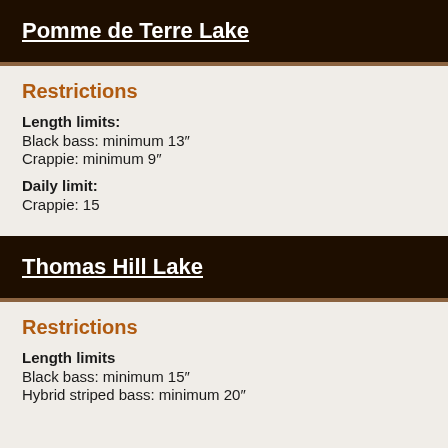Pomme de Terre Lake
Restrictions
Length limits:
Black bass: minimum 13"
Crappie: minimum 9"
Daily limit:
Crappie: 15
Thomas Hill Lake
Restrictions
Length limits
Black bass: minimum 15"
Hybrid striped bass: minimum 20"